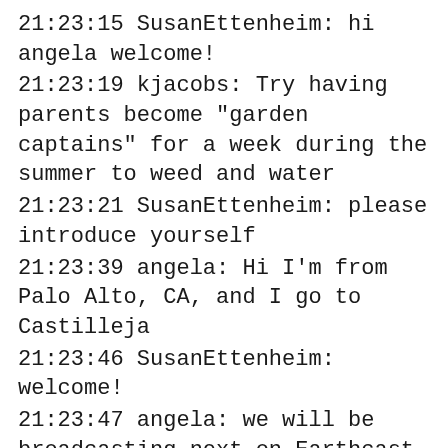21:23:15 SusanEttenheim: hi angela welcome!
21:23:19 kjacobs: Try having parents become "garden captains" for a week during the summer to weed and water
21:23:21 SusanEttenheim: please introduce yourself
21:23:39 angela: Hi I'm from Palo Alto, CA, and I go to Castilleja
21:23:46 SusanEttenheim: welcome!
21:23:47 angela: we will be broadcasting next on Earthcast
21:23:49 angela: 🙂
21:23:55 SusanEttenheim: great!
21:24:00 angela: thanks – please tune in!
21:24:07 SusanEttenheim: you are gator radio, right?
21:24:11 Peggy: fantastic angela!!